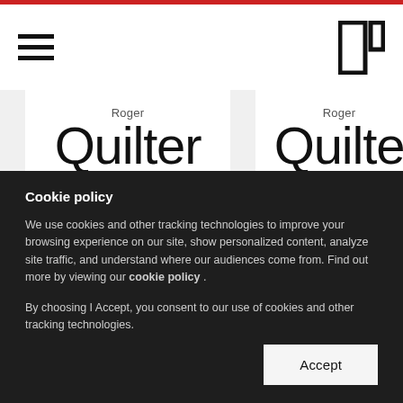Navigation header with hamburger menu and logo icon
[Figure (other): Music sheet card for Roger Quilter - Song of the Blackbird op. 14 No. 4 in Bb]
[Figure (other): Music sheet card for Roger Quilter - It was a Lover and his L... (partially visible)]
Cookie policy
We use cookies and other tracking technologies to improve your browsing experience on our site, show personalized content, analyze site traffic, and understand where our audiences come from. Find out more by viewing our cookie policy .
By choosing I Accept, you consent to our use of cookies and other tracking technologies.